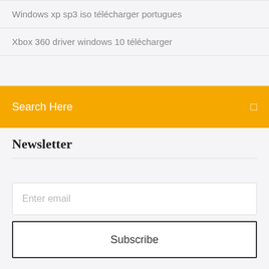Windows xp sp3 iso télécharger portugues
Xbox 360 driver windows 10 télécharger
Search Here
Newsletter
Enter email
Subscribe